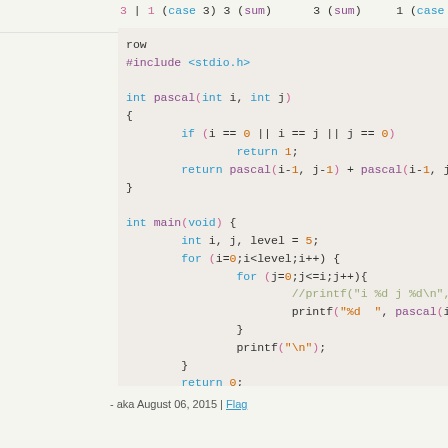3 | 1 (case 3) 3 (sum)     3 (sum)    1 (case
[Figure (screenshot): C code snippet showing a Pascal's triangle program. Includes #include <stdio.h>, a recursive pascal(int i, int j) function returning 1 at edges and pascal(i-1,j-1)+pascal(i-1,j) otherwise, and a main function printing pascal triangle up to level 5.]
- aka August 06, 2015 | Flag